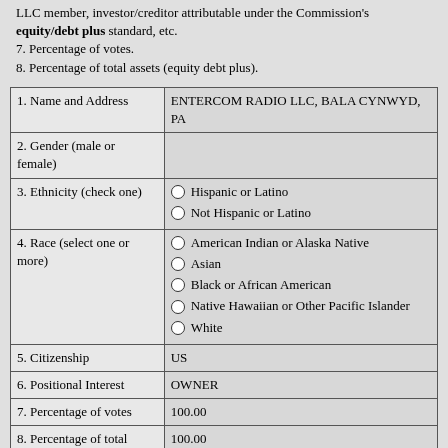LLC member, investor/creditor attributable under the Commission's equity/debt plus standard, etc.
7. Percentage of votes.
8. Percentage of total assets (equity debt plus).
| Field | Value |
| --- | --- |
| 1. Name and Address | ENTERCOM RADIO LLC, BALA CYNWYD, PA |
| 2. Gender (male or female) |  |
| 3. Ethnicity (check one) | ○ Hispanic or Latino
○ Not Hispanic or Latino |
| 4. Race (select one or more) | ○ American Indian or Alaska Native
○ Asian
○ Black or African American
○ Native Hawaiian or Other Pacific Islander
○ White |
| 5. Citizenship | US |
| 6. Positional Interest | OWNER |
| 7. Percentage of votes | 100.00 |
| 8. Percentage of total assets (equity debt plus) | 100.00 |